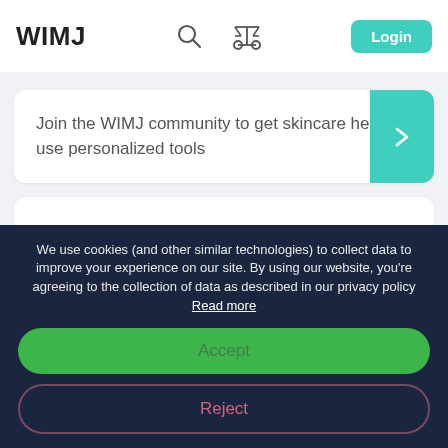WIMJ
Join the WIMJ community to get skincare help and use personalized tools
Bare Republic Mineral Vanilla-Coco Broad Spectrum Sunscreen
We use cookies (and other similar technologies) to collect data to improve your experience on our site. By using our website, you’re agreeing to the collection of data as described in our privacy policy Read more
Accept
Reject